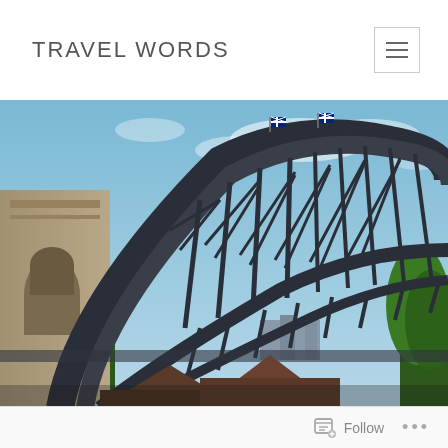TRAVEL WORDS
[Figure (photo): Close-up photo of the Sydney Harbour Bridge showing the steel arch structure, pylons, and two Australian flags flying from the top of the arch, with blue sky and green trees in the foreground and background.]
Follow ...